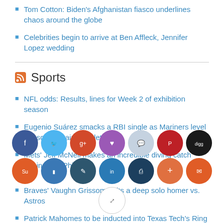Tom Cotton: Biden's Afghanistan fiasco underlines chaos around the globe
Celebrities begin to arrive at Ben Affleck, Jennifer Lopez wedding
Sports
NFL odds: Results, lines for Week 2 of exhibition season
Eugenio Suárez smacks a RBI single as Mariners level the score against Athletics
Mets' Jeff McNeil makes an incredible diving catch against the Phillies
Crawf… Prop… Top m…nts f… eBro…nes, Jaysc…tum, …
Alber…s hi…st, 6…car…me m…
Braves' Vaughn Grissom belts a deep solo homer vs. Astros
Patrick Mahomes to be inducted into Texas Tech's Ring of H…